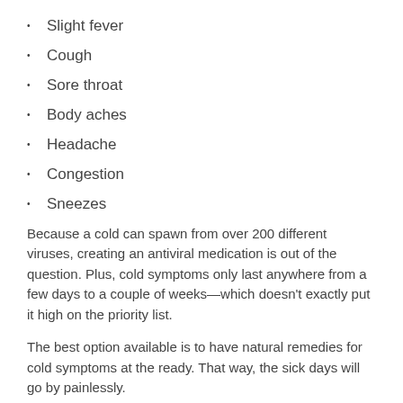Slight fever
Cough
Sore throat
Body aches
Headache
Congestion
Sneezes
Because a cold can spawn from over 200 different viruses, creating an antiviral medication is out of the question. Plus, cold symptoms only last anywhere from a few days to a couple of weeks—which doesn't exactly put it high on the priority list.
The best option available is to have natural remedies for cold symptoms at the ready. That way, the sick days will go by painlessly.
#1 Honey and Tea
Honeycomb and tea is the perfect concoction to ease a sore throat along their inflammatory from combining and will at